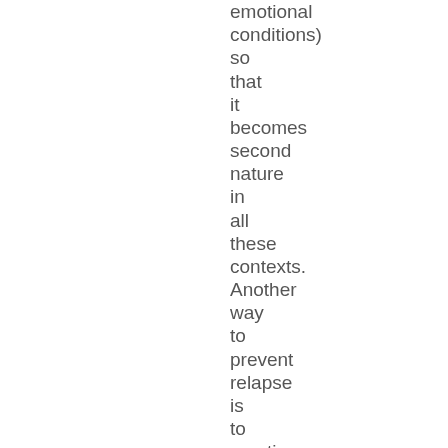emotional conditions) so that it becomes second nature in all these contexts. Another way to prevent relapse is to practice lapsing and recovering